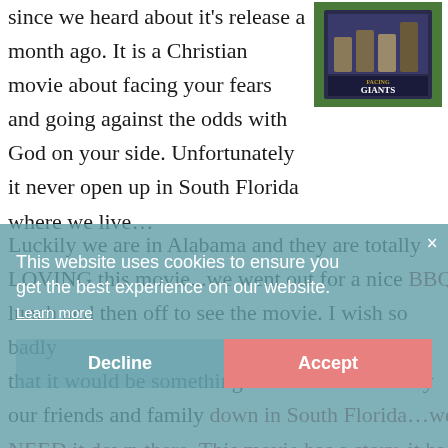since we heard about it's release a month ago. It is a Christian movie about facing your fears and going against the odds with God on your side. Unfortunately it never open up in South Florida where we live…
[Figure (photo): Movie poster for 'Facing the Giants' on a green background]
Luckily we are in Alabama and they are totally LOVING this movie...we went out for a nice BBQ lunch and then off to see the movie. I wish so badly that it would be something that could be seen by our friends and family down in South Florida…we NEED it down there. This movie has a story, it has
This website uses cookies to ensure you get the best experience on our website.
Learn more
Decline
Accept